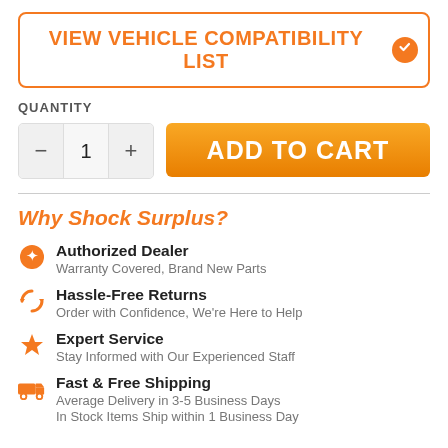[Figure (other): Orange-bordered button with text VIEW VEHICLE COMPATIBILITY LIST and an orange filled checkmark circle icon]
QUANTITY
[Figure (other): Quantity stepper showing minus button, 1, and plus button alongside an orange gradient ADD TO CART button]
Why Shock Surplus?
Authorized Dealer
Warranty Covered, Brand New Parts
Hassle-Free Returns
Order with Confidence, We're Here to Help
Expert Service
Stay Informed with Our Experienced Staff
Fast & Free Shipping
Average Delivery in 3-5 Business Days
In Stock Items Ship within 1 Business Day